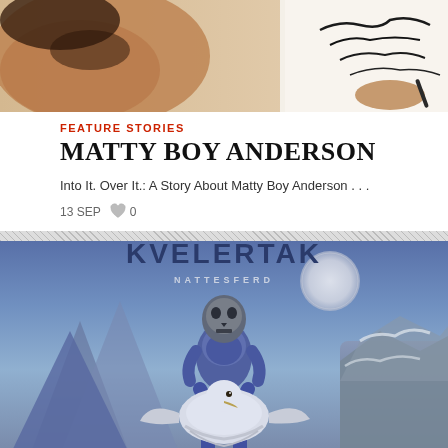[Figure (photo): Partial photo of a person drawing, showing skin tones and ink sketch in upper portion of page]
FEATURE STORIES
MATTY BOY ANDERSON
Into It. Over It.: A Story About Matty Boy Anderson . . .
13 SEP  ♥ 0
[Figure (photo): Album cover art for NATTESFERD showing a skull-helmeted warrior figure standing over a white eagle/bird amid dramatic mountain scenery under a full moon, in blue fantasy illustration style]